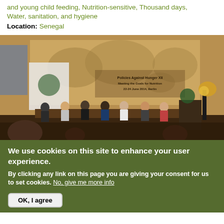and young child feeding, Nutrition-sensitive, Thousand days, Water, sanitation, and hygiene
Location: Senegal
[Figure (photo): Panel discussion on a conference stage with a large world map backdrop. Text on the backdrop reads 'Policies Against Hunger XII, Meeting the Goals for Nutrition, 22-24 June 2014, Berlin'. Several panelists are seated on stage with a podium and floral arrangement visible.]
We use cookies on this site to enhance your user experience.
By clicking any link on this page you are giving your consent for us to set cookies. No, give me more info
OK, I agree